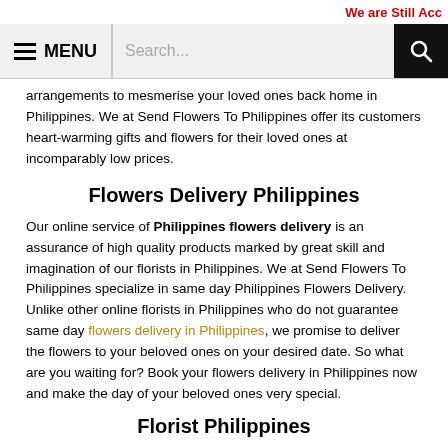We are Still Acc
[Figure (screenshot): Navigation bar with hamburger menu icon, MENU text, search field, and black search button]
arrangements to mesmerise your loved ones back home in Philippines. We at Send Flowers To Philippines offer its customers heart-warming gifts and flowers for their loved ones at incomparably low prices.
Flowers Delivery Philippines
Our online service of Philippines flowers delivery is an assurance of high quality products marked by great skill and imagination of our florists in Philippines. We at Send Flowers To Philippines specialize in same day Philippines Flowers Delivery. Unlike other online florists in Philippines who do not guarantee same day flowers delivery in Philippines, we promise to deliver the flowers to your beloved ones on your desired date. So what are you waiting for? Book your flowers delivery in Philippines now and make the day of your beloved ones very special.
Florist Philippines
We at Send Flowers To Philippines constantly stay in connection with our florists in Philippines so that we can keep you updated with your status of Philippines flowers delivery. We guarantee same day delivery to almost every destination in Philippines. Send Flowers To Philippines is a local